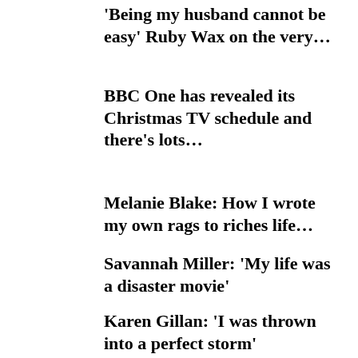‘Being my husband cannot be easy’ Ruby Wax on the very…
BBC One has revealed its Christmas TV schedule and there’s lots…
Melanie Blake: How I wrote my own rags to riches life…
Savannah Miller: ‘My life was a disaster movie’
Karen Gillan: ‘I was thrown into a perfect storm’